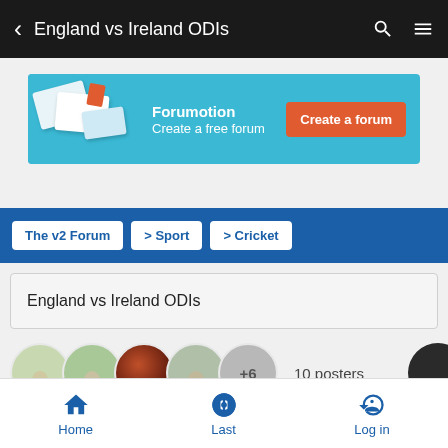England vs Ireland ODIs
[Figure (screenshot): Forumotion advertisement banner — Create a free forum]
The v2 Forum > Sport > Cricket
England vs Ireland ODIs
10 posters
Home   Last   Log in